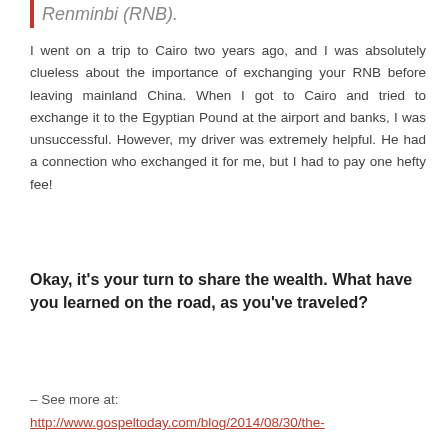Renminbi (RNB).
I went on a trip to Cairo two years ago, and I was absolutely clueless about the importance of exchanging your RNB before leaving mainland China. When I got to Cairo and tried to exchange it to the Egyptian Pound at the airport and banks, I was unsuccessful. However, my driver was extremely helpful. He had a connection who exchanged it for me, but I had to pay one hefty fee!
Okay, it's your turn to share the wealth. What have you learned on the road, as you've traveled?
– See more at:
http://www.gospeltoday.com/blog/2014/08/30/the-